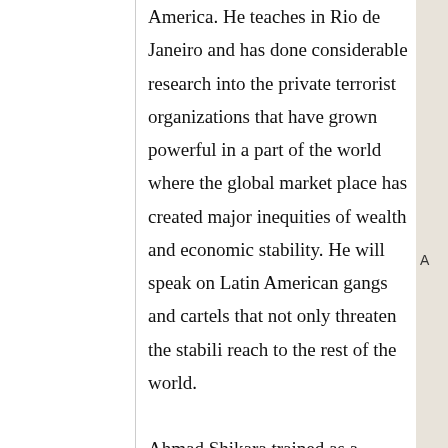America. He teaches in Rio de Janeiro and has done considerable research into the private terrorist organizations that have grown powerful in a part of the world where the global market place has created major inequities of wealth and economic stability. He will speak on Latin American gangs and cartels that not only threaten the stability reach to the rest of the world.
Ahmad Shikara trained as a political sc as a faculty member of the University o research in Japan and New Zealand. In